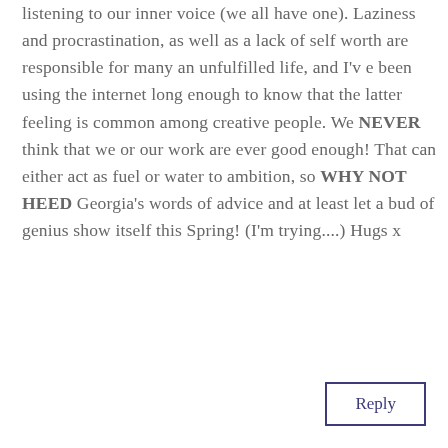listening to our inner voice (we all have one). Laziness and procrastination, as well as a lack of self worth are responsible for many an unfulfilled life, and I'v e been using the internet long enough to know that the latter feeling is common among creative people. We NEVER think that we or our work are ever good enough! That can either act as fuel or water to ambition, so WHY NOT HEED Georgia's words of advice and at least let a bud of genius show itself this Spring! (I'm trying....) Hugs x
Reply